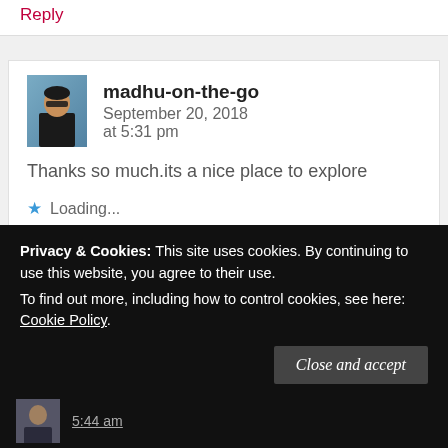Reply
madhu-on-the-go   September 20, 2018 at 5:31 pm
Thanks so much.its a nice place to explore
Loading...
Reply
Advertisements
Privacy & Cookies: This site uses cookies. By continuing to use this website, you agree to their use.
To find out more, including how to control cookies, see here: Cookie Policy
Close and accept
5:44 am